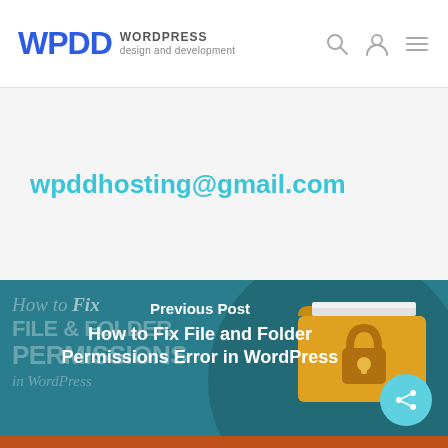WPDD WORDPRESS design and development
wpddhosting@gmail.com
[Figure (screenshot): Previous Post section with teal background showing decorative text 'How to Fix FILE & FOLDER PERMISSIONS in WordPress' and a folder with padlock illustration. Overlay text reads 'Previous Post' and 'How to Fix File and Folder Permissions Error in WordPress'. A share button (circular teal) is in the bottom right.]